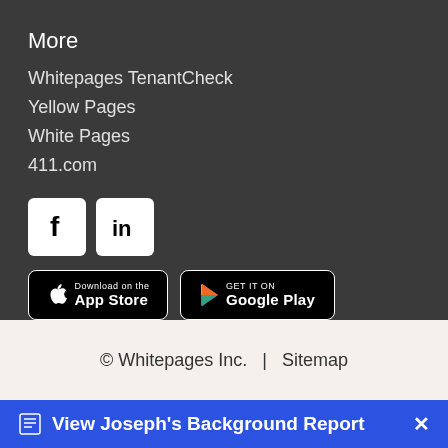More
Whitepages TenantCheck
Yellow Pages
White Pages
411.com
[Figure (logo): Facebook and LinkedIn social media icons (white square icons on white background)]
[Figure (screenshot): Download on the App Store button and Get it on Google Play button]
© Whitepages Inc.  |  Sitemap
View Joseph's Background Report  ×